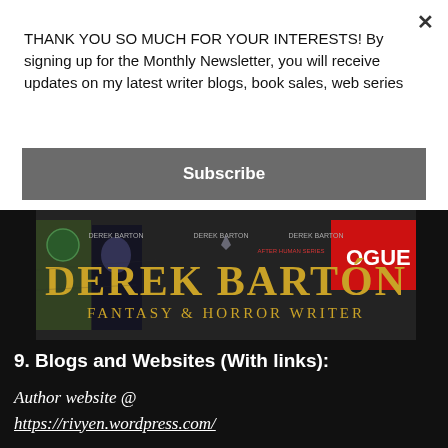THANK YOU SO MUCH FOR YOUR INTERESTS! By signing up for the Monthly Newsletter, you will receive updates on my latest writer blogs, book sales, web series
Subscribe
[Figure (illustration): Derek Barton Fantasy & Horror Writer banner image with book covers and author name in gold lettering on dark stone background]
9. Blogs and Websites (With links):
Author website @ https://rivyen.wordpress.com/